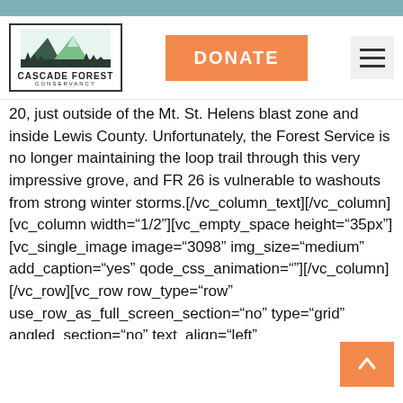[Figure (logo): Cascade Forest Conservancy logo with mountain illustration and text]
DONATE
20, just outside of the Mt. St. Helens blast zone and inside Lewis County. Unfortunately, the Forest Service is no longer maintaining the loop trail through this very impressive grove, and FR 26 is vulnerable to washouts from strong winter storms.[/vc_column_text][/vc_column][vc_column width="1/2"][vc_empty_space height="35px"][vc_single_image image="3098" img_size="medium" add_caption="yes" qode_css_animation=""][/vc_column][/vc_row][vc_row row_type="row" use_row_as_full_screen_section="no" type="grid" angled_section="no" text_align="left" background_image_as_pattern="without_pattern" css_animation=""][vc_column width="1/2"][vc_empty_space height="35px"][vc_column_text]... The